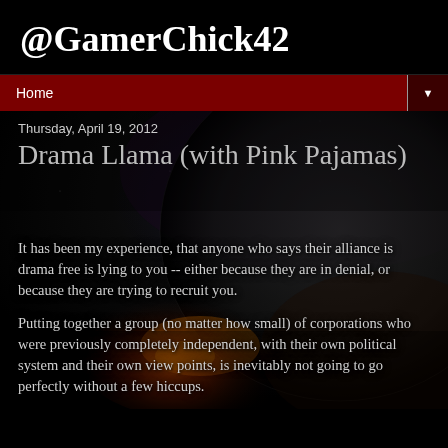@GamerChick42
Home
Thursday, April 19, 2012
Drama Llama (with Pink Pajamas)
[Figure (photo): Dark space/planet background with explosion or fire effect, dark atmospheric scene]
It has been my experience, that anyone who says their alliance is drama free is lying to you -- either because they are in denial, or because they are trying to recruit you.
Putting together a group (no matter how small) of corporations who were previously completely independent, with their own political system and their own view points, is inevitably not going to go perfectly without a few hiccups.